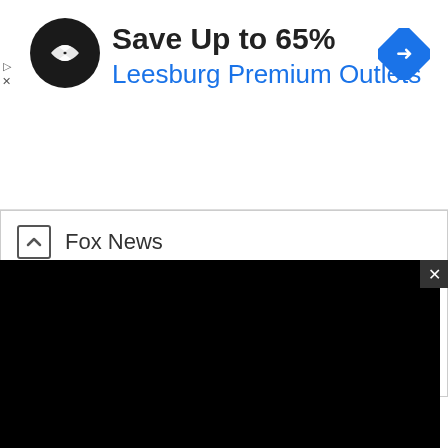[Figure (screenshot): Advertisement banner with circular logo, 'Save Up to 65%' headline, 'Leesburg Premium Outlets' in blue, and a blue navigation arrow icon on the right]
Save Up to 65%
Leesburg Premium Outlets
Fox News
Freeform
National Geographic
Paramount Network
[Figure (screenshot): Black video player area with 'Source not found' error message in a gray box with a red exclamation icon]